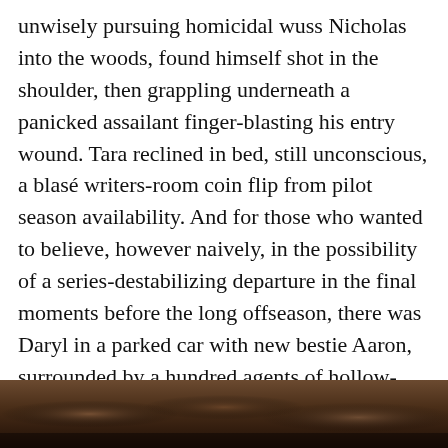unwisely pursuing homicidal wuss Nicholas into the woods, found himself shot in the shoulder, then grappling underneath a panicked assailant finger-blasting his entry wound. Tara reclined in bed, still unconscious, a blasé writers-room coin flip from pilot season availability. And for those who wanted to believe, however naively, in the possibility of a series-destabilizing departure in the final moments before the long offseason, there was Daryl in a parked car with new bestie Aaron, surrounded by a hundred agents of hollow-eyed death loosed from the Wolves' supply truck booby trap, or Rick, on his way to his town council reckoning, barely exploding (with his bare hands) the head of a walker that slipped through the community's less-than-optimal security before it could make the unhinged constable miss his day in kangaroo court.
[Figure (photo): A dark, dimly lit outdoor scene with brown and earthy tones, appearing to show a forested or outdoor setting.]